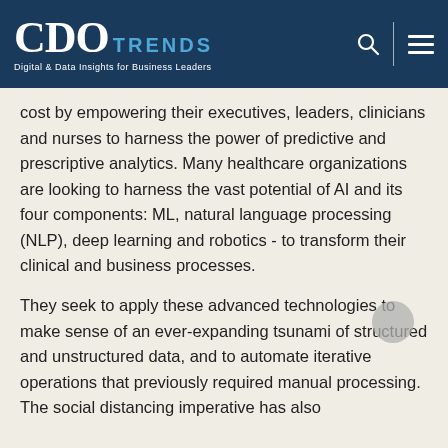CDO TRENDS — Digital & Data Insights for Business Leaders
cost by empowering their executives, leaders, clinicians and nurses to harness the power of predictive and prescriptive analytics. Many healthcare organizations are looking to harness the vast potential of AI and its four components: ML, natural language processing (NLP), deep learning and robotics - to transform their clinical and business processes.
They seek to apply these advanced technologies to make sense of an ever-expanding tsunami of structured and unstructured data, and to automate iterative operations that previously required manual processing. The social distancing imperative has also